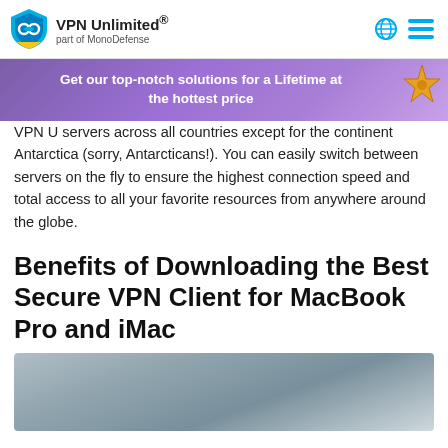VPN Unlimited® part of MonoDefense
[Figure (infographic): Purple banner with text 'Get our top-notch solutions for a Lifetime at the hottest price' and a starfish graphic on the right]
VPN U... servers across all countries except for the continent Antarctica (sorry, Antarcticans!). You can easily switch between servers on the fly to ensure the highest connection speed and total access to all your favorite resources from anywhere around the globe.
Benefits of Downloading the Best Secure VPN Client for MacBook Pro and iMac
[Figure (photo): Blurred/obscured image, appears to be a MacBook or computer device screenshot]